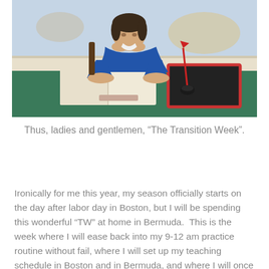[Figure (illustration): Painting of a young child in a blue outfit sitting at a desk with an open book, resting chin on hands in a bored or contemplative pose. A red quill pen and inkwell are on the desk. A map is visible in the background.]
Thus, ladies and gentlemen, “The Transition Week”.
Ironically for me this year, my season officially starts on the day after labor day in Boston, but I will be spending this wonderful “TW” at home in Bermuda.  This is the week where I will ease back into my 9-12 am practice routine without fail, where I will set up my teaching schedule in Boston and in Bermuda, and where I will once again set up my work space